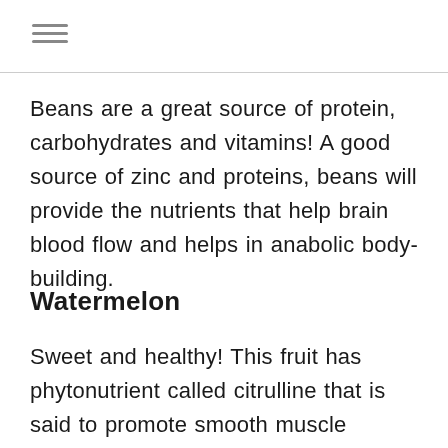≡
Beans are a great source of protein, carbohydrates and vitamins! A good source of zinc and proteins, beans will provide the nutrients that help brain blood flow and helps in anabolic body-building.
Watermelon
Sweet and healthy! This fruit has phytonutrient called citrulline that is said to promote smooth muscle relaxation. It